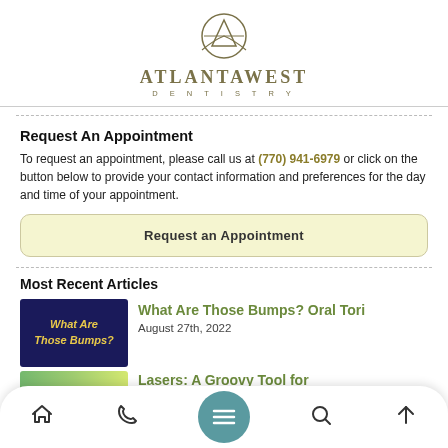ATLANTAWEST DENTISTRY
Request An Appointment
To request an appointment, please call us at (770) 941-6979 or click on the button below to provide your contact information and preferences for the day and time of your appointment.
Request an Appointment
Most Recent Articles
[Figure (photo): Thumbnail image for 'What Are Those Bumps?' article with yellow italic text on dark blue background]
What Are Those Bumps? Oral Tori
August 27th, 2022
[Figure (photo): Thumbnail image for 'Lasers: A Groovy Tool for Dentists' article with colorful background]
Lasers: A Groovy Tool for Dentists
Navigation bar with home, phone, menu, search, and scroll-up icons